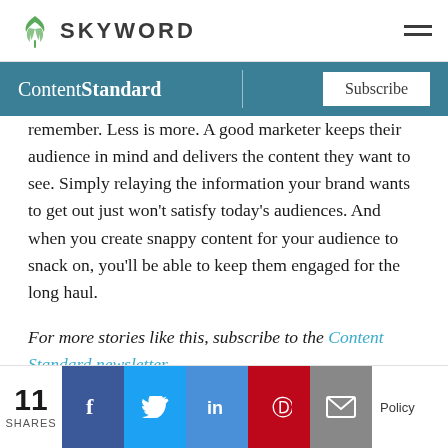SKYWORD
ContentStandard  |  Subscribe
remember. Less is more. A good marketer keeps their audience in mind and delivers the content they want to see. Simply relaying the information your brand wants to get out just won't satisfy today's audiences. And when you create snappy content for your audience to snack on, you'll be able to keep them engaged for the long haul.
For more stories like this, subscribe to the Content Standard newsletter.
Featured image attribution: Andrea Piacquadio from Pexels.
11 SHARES  [Facebook] [Twitter] [LinkedIn] [Pinterest] [Email]  Policy